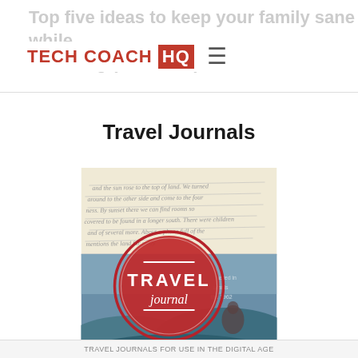Top five ideas to keep your family sane while travelling (with tech)
Travel Journals
[Figure (illustration): Travel journal book cover with handwritten notes background and circular red badge reading TRAVEL journal overlay on a vintage landscape scene with a figure]
TRAVEL JOURNALS FOR USE IN THE DIGITAL AGE